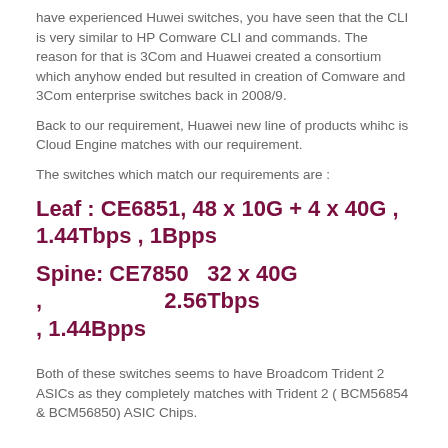have experienced Huwei switches, you have seen that the CLI is very similar to HP Comware CLI and commands. The reason for that is 3Com and Huawei created a consortium which anyhow ended but resulted in creation of Comware and 3Com enterprise switches back in 2008/9.
Back to our requirement, Huawei new line of products whihc is Cloud Engine matches with our requirement.
The switches which match our requirements are :
Leaf :  CE6851,  48 x 10G + 4 x 40G , 1.44Tbps , 1Bpps
Spine:  CE7850   32 x 40G ,                    2.56Tbps , 1.44Bpps
Both of these switches seems to have Broadcom Trident 2 ASICs as they completely matches with Trident 2 ( BCM56854 & BCM56850) ASIC Chips.